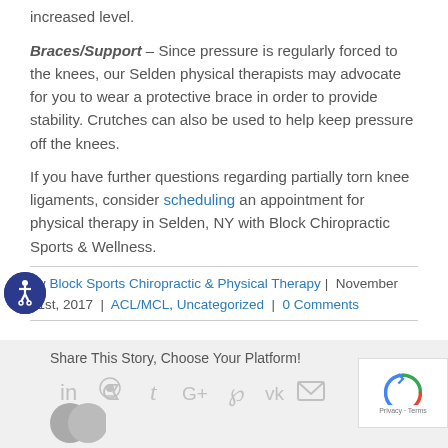increased level.
Braces/Support – Since pressure is regularly forced to the knees, our Selden physical therapists may advocate for you to wear a protective brace in order to provide stability. Crutches can also be used to help keep pressure off the knees.
If you have further questions regarding partially torn knee ligaments, consider scheduling an appointment for physical therapy in Selden, NY with Block Chiropractic Sports & Wellness.
By Block Sports Chiropractic & Physical Therapy | November 21st, 2017 | ACL/MCL, Uncategorized | 0 Comments
Share This Story, Choose Your Platform!